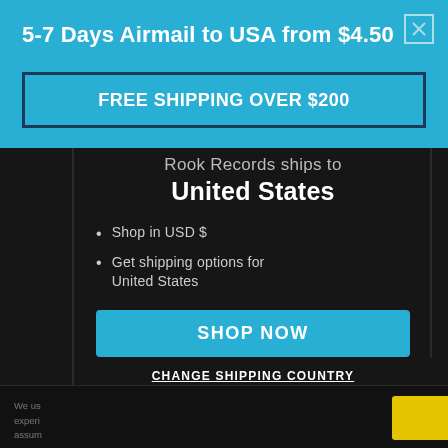5-7 Days Airmail to USA from $4.50
FREE SHIPPING OVER $200
Rook Records ships to United States
Shop in USD $
Get shipping options for United States
SHOP NOW
CHANGE SHIPPING COUNTRY
We us... experi... assum...